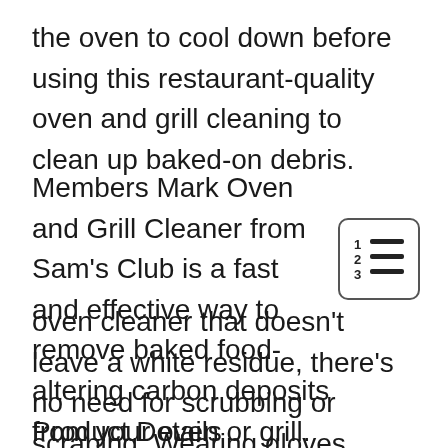the oven to cool down before using this restaurant-quality oven and grill cleaning to clean up baked-on debris.
Members Mark Oven and Grill Cleaner from Sam's Club is a fast and effective way to remove baked food-altering carbon deposits from your oven or grill. With this effective oven cleaner that doesn't leave a white residue, there's no need for scrubbing or scraping. Wearing gloves while wiping the oven is advised because of the intense chemical-based mix.
Product Details